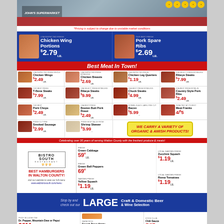[Figure (photo): John's Supermarket storefront photo with logo and award badges]
*Pricing is subject to change due to unstable market conditions
[Figure (infographic): Hero product feature: Chicken Wing Portions $2.79 LB and Pork Spare Ribs $2.69 LB on blue background]
Best Meat In Town!
[Figure (infographic): Meat grid: Chicken Wings $2.49 lb, Chicken Breasts $2.69 lb, Chicken Leg Quarters $1.19 lb, Ribeye Steaks $7.99 lb, T-Bone Steaks $7.99 lb, Ribeye Steaks $9.99 lb, Chuck Steaks $4.99 lb, Country Style Pork Ribs $2.49 lb, Pork Chops $2.49 lb, Boston Butt Pork Roast $2.49 lb, Bacon $5.99, Meat Franks 4/$5, Smoked Sausage $2.99 lb, Shrimp Skewer $3.99 lb]
WE CARRY A VARIETY OF ORGANIC & AMISH PRODUCTS!
Celebrating over 30 years of serving Walton County with the freshest produce & meats!
[Figure (logo): Bistro South restaurant logo]
BEST HAMBURGERS IN WALTON COUNTY!
visit our website to view our full menu www.eatbistrosouth.com/menu
Green Cabbage 59¢ lb, Green Bell Peppers 69¢, Yellow Squash $1.19 lb, Zucchini Squash $1.19 lb, Roma Tomatoes $1.19 lb
Stop by and check out our LARGE Craft & Domestic Beer & Wine Selection
Dr. Pepper, Mountain Dew or Pepsi 2/$11, French Toast Sticks 2/$5, Chili Sauce 5/$5